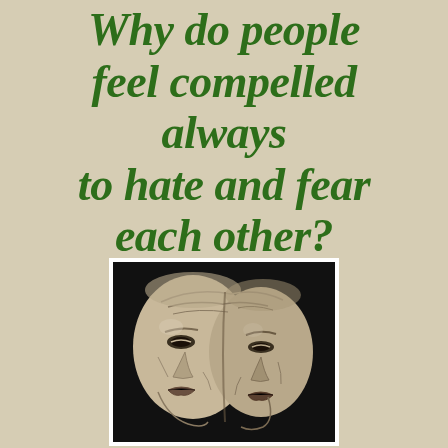Why do people feel compelled always to hate and fear each other?
[Figure (photo): A sculptural mask or face with two sides — a Janus-like ancient stone or ceramic mask with weathered, expressive features on a dark background, framed with a white border.]